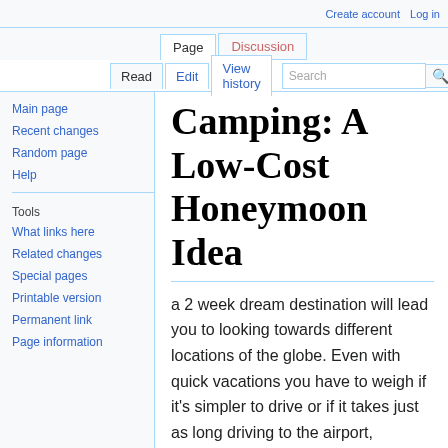Create account  Log in
Page  Discussion
Read  Edit  View history  Search
Camping: A Low-Cost Honeymoon Idea
a 2 week dream destination will lead you to looking towards different locations of the globe. Even with quick vacations you have to weigh if it's simpler to drive or if it takes just as long driving to the airport, surviving security and the time in the aircraft. You also have to consider time distinctions when you cross time lines, jet lag and losing a day or two just returning and forth.
Main page
Recent changes
Random page
Help
Tools
What links here
Related changes
Special pages
Printable version
Permanent link
Page information